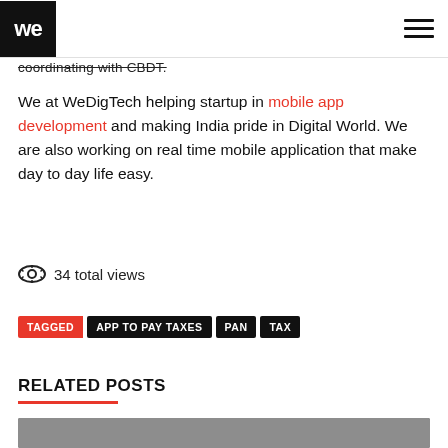we | menu
coordinating with CBDT.
We at WeDigTech helping startup in mobile app development and making India pride in Digital World. We are also working on real time mobile application that make day to day life easy.
34 total views
TAGGED APP TO PAY TAXES PAN TAX
RELATED POSTS
[Figure (photo): Partial image of related post thumbnail visible at bottom of page]